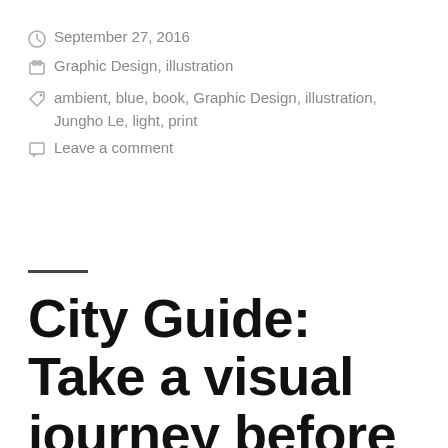September 27, 2016
Graphic Design, illustration
ambient, blue, book, Graphic Design, illustration, Jungho Le, light, print
Leave a comment
City Guide: Take a visual journey before the actual journey